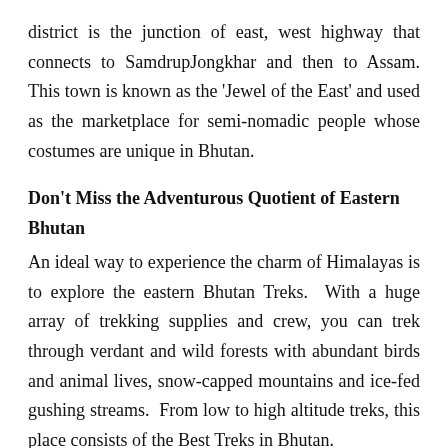district is the junction of east, west highway that connects to SamdrupJongkhar and then to Assam. This town is known as the 'Jewel of the East' and used as the marketplace for semi-nomadic people whose costumes are unique in Bhutan.
Don't Miss the Adventurous Quotient of Eastern Bhutan
An ideal way to experience the charm of Himalayas is to explore the eastern Bhutan Treks.  With a huge array of trekking supplies and crew, you can trek through verdant and wild forests with abundant birds and animal lives, snow-capped mountains and ice-fed gushing streams.  From low to high altitude treks, this place consists of the Best Treks in Bhutan.
The natural beauty and mind-blowing adventures are welcoming you with open arms. So, just stop planning and quickly pack your bags to give your family, the moments full of fun, peace and